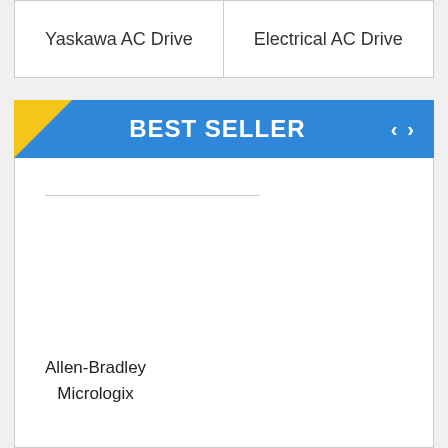| Yaskawa AC Drive | Electrical AC Drive |
| --- | --- |
BEST SELLER
Allen-Bradley
Micrologix